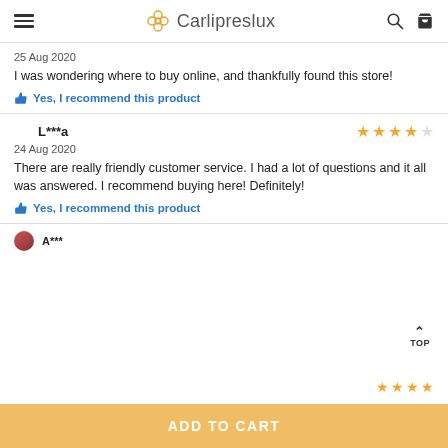Carlipreslux
25 Aug 2020
I was wondering where to buy online, and thankfully found this store!
Yes, I recommend this product
L***a
24 Aug 2020
There are really friendly customer service. I had a lot of questions and it all was answered. I recommend buying here! Definitely!
Yes, I recommend this product
TOP
ADD TO CART